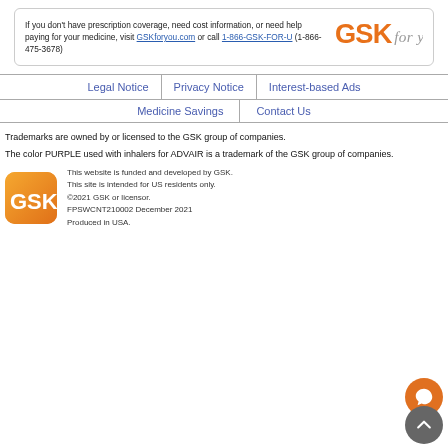If you don't have prescription coverage, need cost information, or need help paying for your medicine, visit GSKforyou.com or call 1-866-GSK-FOR-U (1-866-475-3678)
[Figure (logo): GSK for you logo in orange and gray text]
Legal Notice
Privacy Notice
Interest-based Ads
Medicine Savings
Contact Us
Trademarks are owned by or licensed to the GSK group of companies.
The color PURPLE used with inhalers for ADVAIR is a trademark of the GSK group of companies.
This website is funded and developed by GSK. This site is intended for US residents only. ©2021 GSK or licensor. FPSWCNT210002 December 2021 Produced in USA.